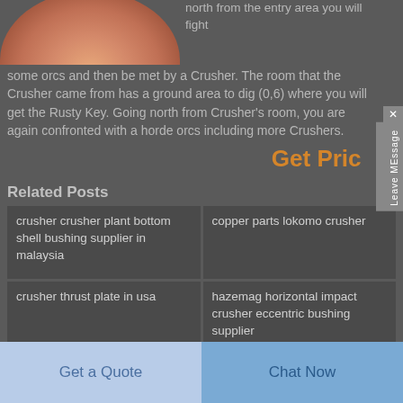[Figure (photo): Copper/bronze bowl or vessel top portion showing curved metallic surface with gradient shading]
north from the entry area you will fight some orcs and then be met by a Crusher. The room that the Crusher came from has a ground area to dig (0,6) where you will get the Rusty Key. Going north from Crusher's room, you are again confronted with a horde orcs including more Crushers.
Get Price
Related Posts
crusher crusher plant bottom shell bushing supplier in malaysia
copper parts lokomo crusher
crusher thrust plate in usa
hazemag horizontal impact crusher eccentric bushing supplier